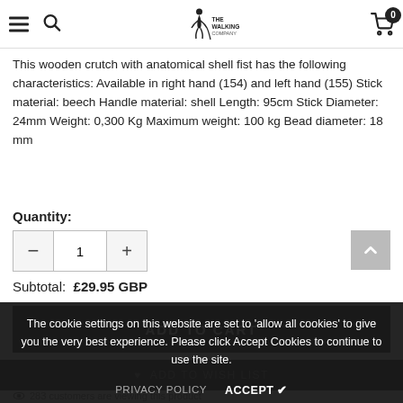The Walking Stick Company — navigation header with menu, search, logo, and cart (0 items)
This wooden crutch with anatomical shell fist has the following characteristics: Available in right hand (154) and left hand (155) Stick material: beech Handle material: shell Length: 95cm Stick Diameter: 24mm Weight: 0,300 Kg Maximum weight: 100 kg Bead diameter: 18 mm
Quantity:
Subtotal:  £29.95 GBP
ADD TO CART
The cookie settings on this website are set to 'allow all cookies' to give you the very best experience. Please click Accept Cookies to continue to use the site.
PRIVACY POLICY   ACCEPT ✔
♥  ADD TO WISH LIST
283 customers are viewing this product